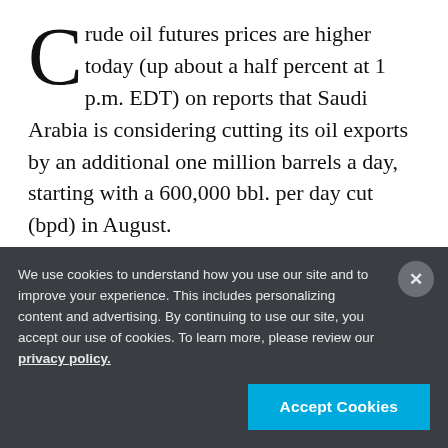Crude oil futures prices are higher today (up about a half percent at 1 p.m. EDT) on reports that Saudi Arabia is considering cutting its oil exports by an additional one million barrels a day, starting with a 600,000 bbl. per day cut (bpd) in August.
The rumor, reported by Reuters, comes as the latest OPEC production cut compliance estimate fell to 78% from its prior 100%-plus. At the same time, Ecuador announced it would stop complying with the OPEC
We use cookies to understand how you use our site and to improve your experience. This includes personalizing content and advertising. By continuing to use our site, you accept our use of cookies. To learn more, please review our privacy policy.